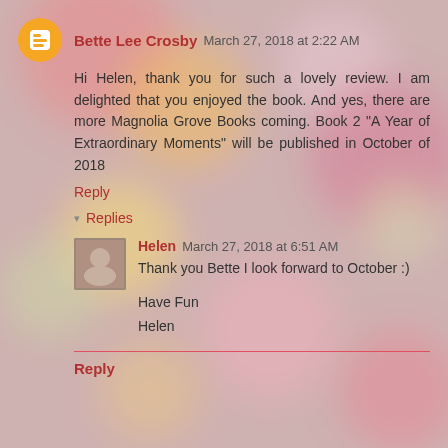Bette Lee Crosby March 27, 2018 at 2:22 AM
Hi Helen, thank you for such a lovely review. I am delighted that you enjoyed the book. And yes, there are more Magnolia Grove Books coming. Book 2 "A Year of Extraordinary Moments" will be published in October of 2018
Reply
Replies
Helen March 27, 2018 at 6:51 AM
Thank you Bette I look forward to October :)
Have Fun
Helen
Reply